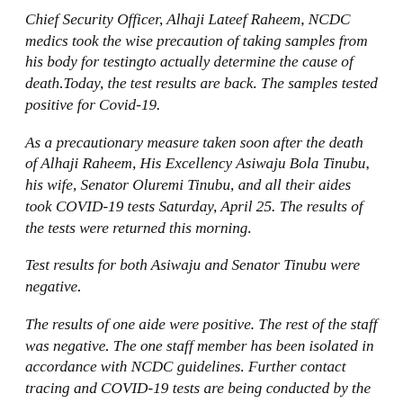Chief Security Officer, Alhaji Lateef Raheem, NCDC medics took the wise precaution of taking samples from his body for testingto actually determine the cause of death.Today, the test results are back. The samples tested positive for Covid-19.
As a precautionary measure taken soon after the death of Alhaji Raheem, His Excellency Asiwaju Bola Tinubu, his wife, Senator Oluremi Tinubu, and all their aides took COVID-19 tests Saturday, April 25. The results of the tests were returned this morning.
Test results for both Asiwaju and Senator Tinubu were negative.
The results of one aide were positive. The rest of the staff was negative. The one staff member has been isolated in accordance with NCDC guidelines. Further contact tracing and COVID-19 tests are being conducted by the